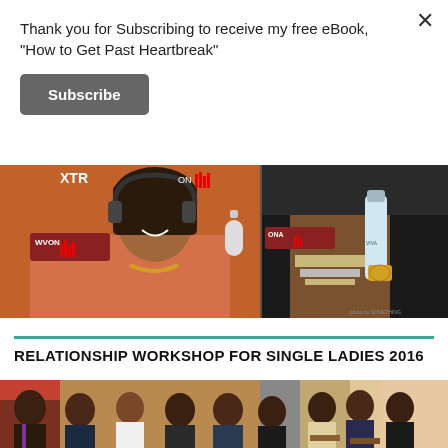Thank you for Subscribing to receive my free eBook, "How to Get Past Heartbreak"
Subscribe
[Figure (photo): Two women at a radio station with WVON microphones and branding; one woman in an orange jacket smiling, the other in a black top with bracelets and a gold watch, with a water bottle on the desk.]
RELATIONSHIP WORKSHOP FOR SINGLE LADIES 2016
[Figure (photo): Group photo of several men and a woman standing together indoors, appearing to be at a workshop or event.]
[Figure (photo): People seated and standing in a room, appearing to be at a workshop or panel discussion.]